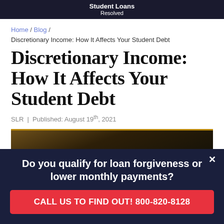Student Loans Resolved
Home / Blog /
Discretionary Income: How It Affects Your Student Debt
Discretionary Income: How It Affects Your Student Debt
SLR  |  Published: August 19th, 2021
[Figure (photo): Close-up of a dark-toned book or notebook with a gold/brown cover on a dark background]
Do you qualify for loan forgiveness or lower monthly payments?
CALL US TO FIND OUT! 800-820-8128